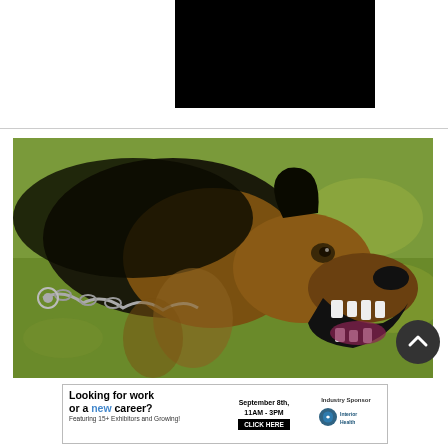[Figure (other): Black rectangle, possibly a video player or image placeholder]
[Figure (photo): A German Shepherd dog on a chain, snarling with mouth open showing teeth, against a grass background]
[Figure (other): Advertisement banner: 'Looking for work or a new career? Featuring 15+ Exhibitors and Growing! September 8th, 11AM - 3PM CLICK HERE. Industry Sponsor: Interior Health']